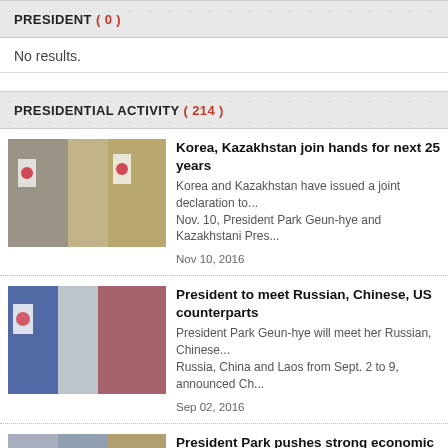PRESIDENT ( 0 )
No results.
PRESIDENTIAL ACTIVITY ( 214 )
[Figure (photo): Two people exchanging small flags in front of Korean flags]
Korea, Kazakhstan join hands for next 25 years
Korea and Kazakhstan have issued a joint declaration to... Nov. 10, President Park Geun-hye and Kazakhstani Pres...
Nov 10, 2016
[Figure (photo): Two people shaking hands in front of Korean and Russian flags]
President to meet Russian, Chinese, US counterparts
President Park Geun-hye will meet her Russian, Chinese... Russia, China and Laos from Sept. 2 to 9, announced Ch...
Sep 02, 2016
[Figure (photo): People at a meeting with flags]
President Park pushes strong economic partnership b...